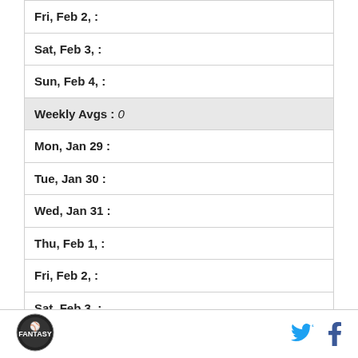| Fri, Feb 2, : |
| Sat, Feb 3, : |
| Sun, Feb 4, : |
| Weekly Avgs : 0 |
| Mon, Jan 29 : |
| Tue, Jan 30 : |
| Wed, Jan 31 : |
| Thu, Feb 1, : |
| Fri, Feb 2, : |
| Sat, Feb 3, : |
| Sun, Feb 4, : |
Logo | Twitter | Facebook